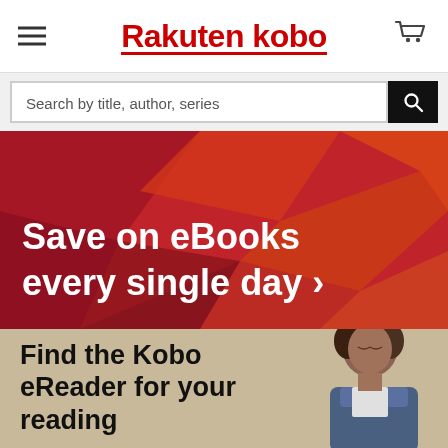Rakuten kobo
Search by title, author, series
[Figure (illustration): Promotional banner with red/orange geometric polygon background and white bold text reading 'Save on eBooks every single day >']
[Figure (photo): Tan/beige section with bold black text 'Find the Kobo eReader for your reading' and a woman with curly hair looking down at a reading device on the right side]